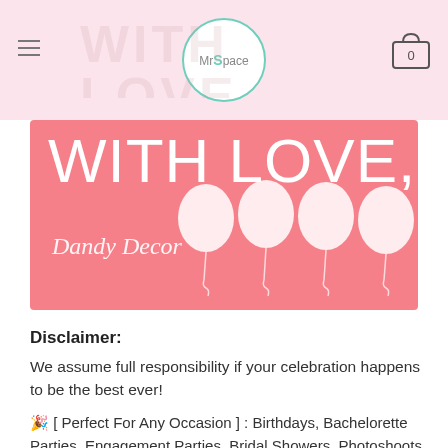Mr Space logo with hamburger menu and cart icon showing 0
[Figure (illustration): Pink banner with white text 'WITH LOVE, Dandy Decor' and white balloon illustrations on the right side]
Disclaimer:
We assume full responsibility if your celebration happens to be the best ever!
🎉 [ Perfect For Any Occasion ] : Birthdays, Bachelorette Parties, Engagement Parties, Bridal Showers, Photoshoots, Baby Showers, Weddings, Graduations + more!